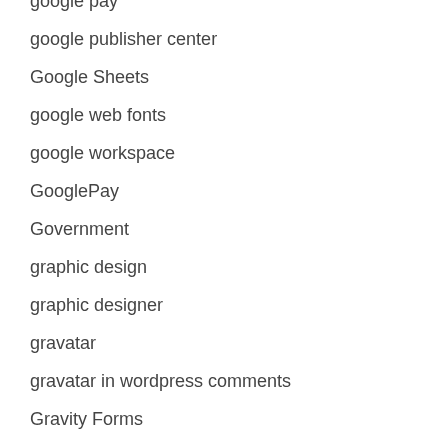google pay
google publisher center
Google Sheets
google web fonts
google workspace
GooglePay
Government
graphic design
graphic designer
gravatar
gravatar in wordpress comments
Gravity Forms
Green